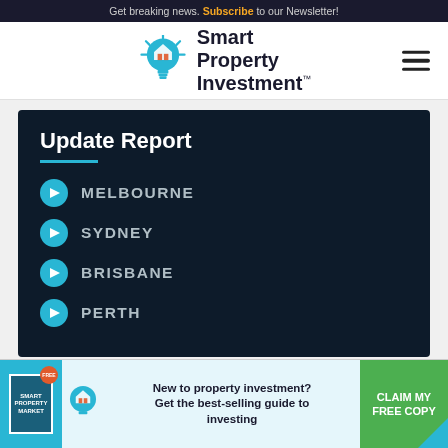Get breaking news. Subscribe to our Newsletter!
[Figure (logo): Smart Property Investment logo with lightbulb icon]
Update Report
MELBOURNE
SYDNEY
BRISBANE
PERTH
[Figure (infographic): Advertisement banner: New to property investment? Get the best-selling guide to investing. Claim My Free Copy button.]